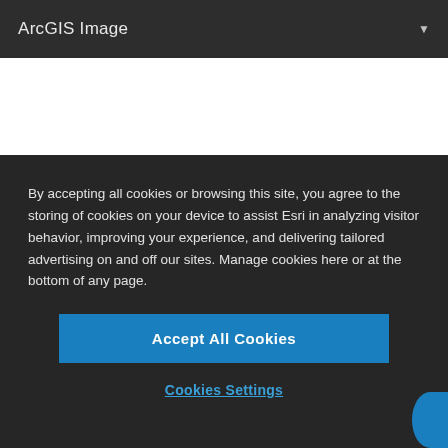ArcGIS Image
[Figure (screenshot): White content area below the header bar]
By accepting all cookies or browsing this site, you agree to the storing of cookies on your device to assist Esri in analyzing visitor behavior, improving your experience, and delivering tailored advertising on and off our sites. Manage cookies here or at the bottom of any page.
Accept All Cookies
Cookies Settings